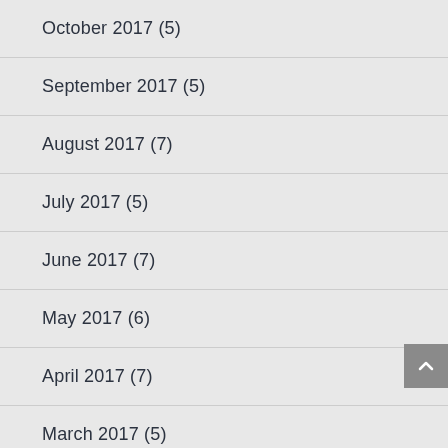October 2017 (5)
September 2017 (5)
August 2017 (7)
July 2017 (5)
June 2017 (7)
May 2017 (6)
April 2017 (7)
March 2017 (5)
February 2017 (6)